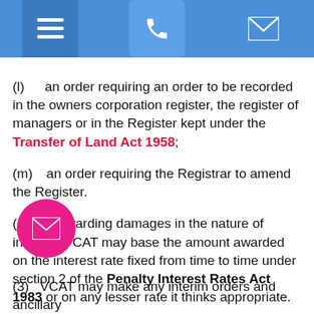Navigation bar with menu, phone, and email icons
(l)    an order requiring an order to be recorded in the owners corporation register, the register of managers or in the Register kept under the Transfer of Land Act 1958;
(m)    an order requiring the Registrar to amend the Register.
(2)    In awarding damages in the nature of interest, VCAT may base the amount awarded on the interest rate fixed from time to time under section 2 of the Penalty Interest Rates Act 1983 or on any lesser rate it thinks appropriate.
(3)    VCAT may make any interim orders and ancillary…